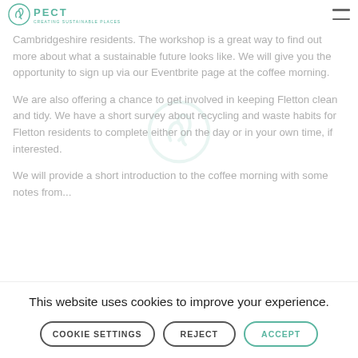PECT — CREATING SUSTAINABLE PLACES
Cambridgeshire residents. The workshop is a great way to find out more about what a sustainable future looks like. We will give you the opportunity to sign up via our Eventbrite page at the coffee morning.
We are also offering a chance to get involved in keeping Fletton clean and tidy. We have a short survey about recycling and waste habits for Fletton residents to complete either on the day or in your own time, if interested.
We will provide a short introduction to the coffee morning with some notes from...
This website uses cookies to improve your experience.
COOKIE SETTINGS   REJECT   ACCEPT